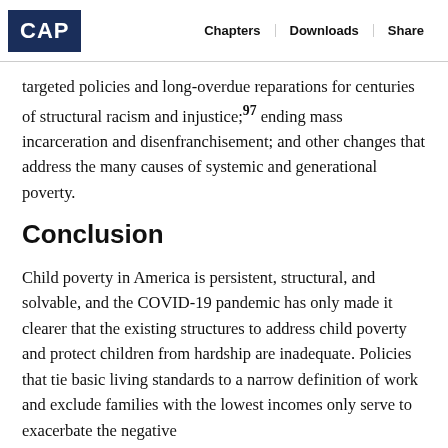CAP | Chapters | Downloads | Share
targeted policies and long-overdue reparations for centuries of structural racism and injustice;97 ending mass incarceration and disenfranchisement; and other changes that address the many causes of systemic and generational poverty.
Conclusion
Child poverty in America is persistent, structural, and solvable, and the COVID-19 pandemic has only made it clearer that the existing structures to address child poverty and protect children from hardship are inadequate. Policies that tie basic living standards to a narrow definition of work and exclude families with the lowest incomes only serve to exacerbate the negative